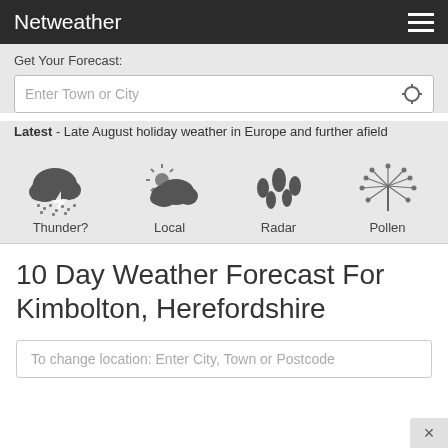Netweather
Get Your Forecast:
Enter Town or City
Latest - Late August holiday weather in Europe and further afield
[Figure (infographic): Four weather icons: Thunder?, Local, Radar, Pollen]
10 Day Weather Forecast For Kimbolton, Herefordshire
To change location: Enter City, Town or Postcode